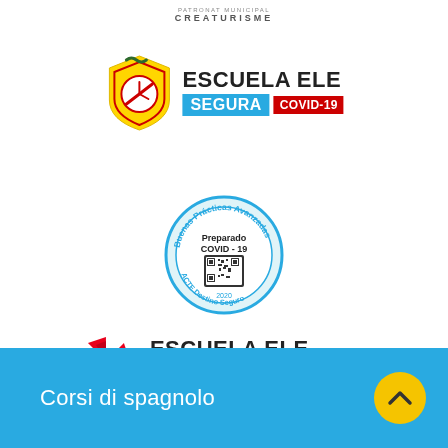[Figure (logo): CREATURISME top logo text]
[Figure (logo): Escuela ELE Segura COVID-19 badge with shield icon]
[Figure (logo): Buenas Prácticas Avanzadas Preparado COVID-19 circular stamp with QR code]
[Figure (logo): Escuela ELE Socialmente Responsable badge with geometric icon]
Corsi di spagnolo